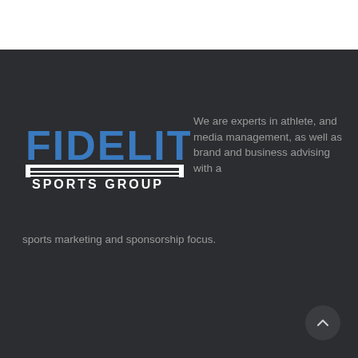[Figure (logo): Fidelity Sports Group logo — bold blue 'FIDELITY' text above 'SPORTS GROUP' with horizontal stripes]
We are experts in athlete, and media management, as well as brand and business advising with a sports marketing and sponsorship focus.